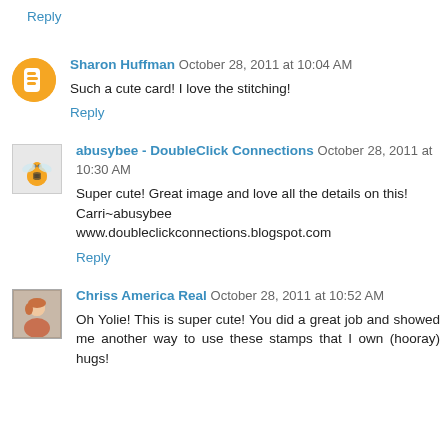Reply
Sharon Huffman October 28, 2011 at 10:04 AM
Such a cute card! I love the stitching!
Reply
abusybee - DoubleClick Connections October 28, 2011 at 10:30 AM
Super cute! Great image and love all the details on this! Carri~abusybee
www.doubleclickconnections.blogspot.com
Reply
Chriss America Real October 28, 2011 at 10:52 AM
Oh Yolie! This is super cute! You did a great job and showed me another way to use these stamps that I own (hooray) hugs!